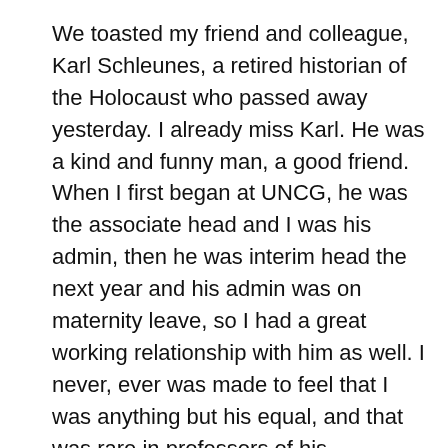We toasted my friend and colleague, Karl Schleunes, a retired historian of the Holocaust who passed away yesterday. I already miss Karl. He was a kind and funny man, a good friend. When I first began at UNCG, he was the associate head and I was his admin, then he was interim head the next year and his admin was on maternity leave, so I had a great working relationship with him as well. I never, ever was made to feel that I was anything but his equal, and that was rare in professors of his generation. Since his retirement, he stopped by our offices to visit often, and took “the history girls” out to lunch once or twice a year. I miss his smile and deep soft voice and chuckle.
Yesterday I mainly rested my feet, but we went to Deep Roots for groceries and Sandy rearranged the “living room” to a cosier less cluttered space. Well, it will be